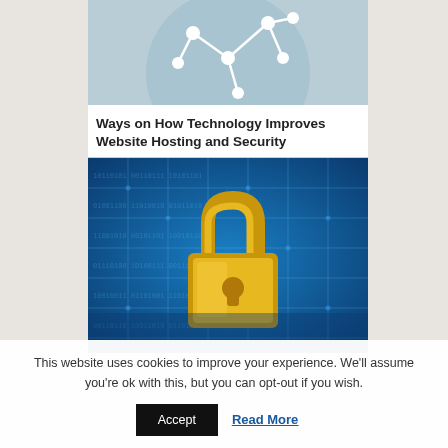[Figure (illustration): Circular light blue icon with a white network/connectivity diagram (nodes and lines) on it, cropped at the top]
Ways on How Technology Improves Website Hosting and Security
[Figure (photo): A photo of a gold padlock in front of a blue digital/technology background with circuit patterns, representing website security]
This website uses cookies to improve your experience. We'll assume you're ok with this, but you can opt-out if you wish.
Accept   Read More